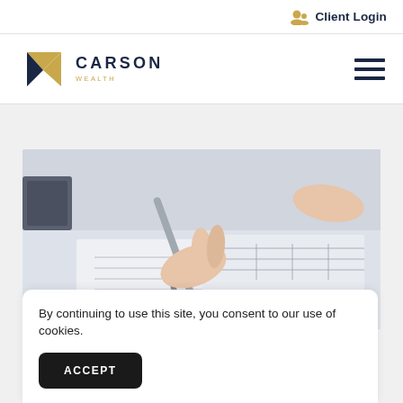Client Login
[Figure (logo): Carson Wealth logo with gold and navy geometric mark and text 'CARSON WEALTH']
[Figure (photo): Person's hand writing on financial documents with a silver pen]
By continuing to use this site, you consent to our use of cookies.
ACCEPT